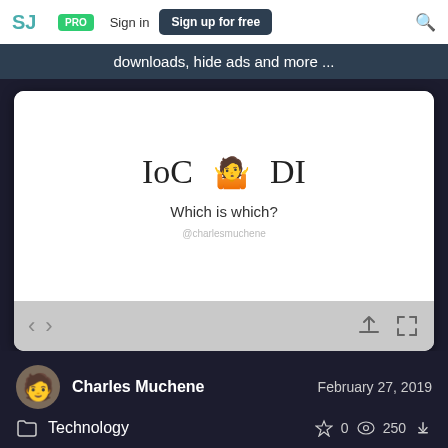SJ  PRO  Sign in  Sign up for free
downloads, hide ads and more ...
[Figure (screenshot): Slide viewer showing a presentation slide with text 'IoC 🤷 DI' and subtitle 'Which is which?' and handle '@charlesmuchene'. Below the slide are navigation arrows and control icons.]
Charles Muchene   February 27, 2019
Technology   ☆ 0  👁 250  ↓